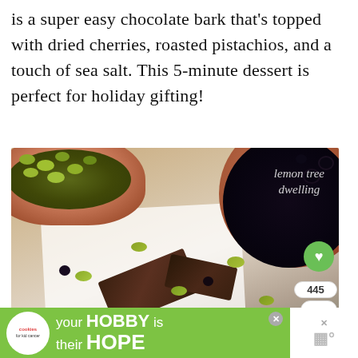is a super easy chocolate bark that's topped with dried cherries, roasted pistachios, and a touch of sea salt. This 5-minute dessert is perfect for holiday gifting!
[Figure (photo): Photo of chocolate bark ingredients with two pink/copper bowls — one containing green pistachios, one containing dried cherries — with pieces of dark chocolate bark arranged on white parchment. Pistachios scattered on surface. Watermark reads 'lemon tree dwelling'. Heart/share buttons visible on right side.]
[Figure (infographic): Advertisement banner: green background with 'cookies for kid cancer' logo (white circle), text 'your HOBBY is their HOPE' in white bold text, close button, and right panel with weather/app icon.]